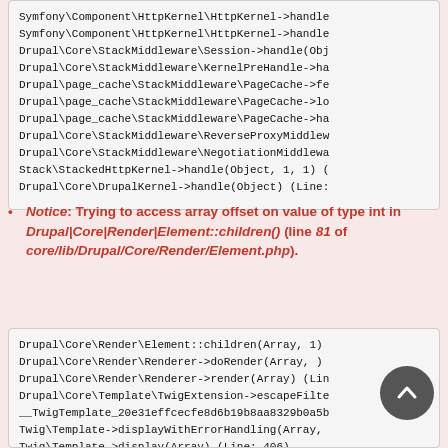Symfony\Component\HttpKernel\HttpKernel->handle
Symfony\Component\HttpKernel\HttpKernel->handle
Drupal\Core\StackMiddleware\Session->handle(Obj
Drupal\Core\StackMiddleware\KernelPreHandle->ha
Drupal\page_cache\StackMiddleware\PageCache->fe
Drupal\page_cache\StackMiddleware\PageCache->lo
Drupal\page_cache\StackMiddleware\PageCache->ha
Drupal\Core\StackMiddleware\ReverseProxyMiddlew
Drupal\Core\StackMiddleware\NegotiationMiddlewa
Stack\StackedHttpKernel->handle(Object, 1, 1) (
Drupal\Core\DrupalKernel->handle(Object) (Line:
Notice: Trying to access array offset on value of type int in Drupal|Core|Render|Element::children() (line 81 of core/lib/Drupal/Core/Render/Element.php).
Drupal\Core\Render\Element::children(Array, 1)
Drupal\Core\Render\Renderer->doRender(Array, )
Drupal\Core\Render\Renderer->render(Array) (Lin
Drupal\Core\Template\TwigExtension->escapeFilte
__TwigTemplate_20e31effcecfe8d6b19b8aa8329b0a5b
Twig\Template->displayWithErrorHandling(Array,
Twig\Template->display(Array) (Line: 406)
Twig\Template->render(Array) (Line: 64)
twig_render_template('themes/bootstrap/template